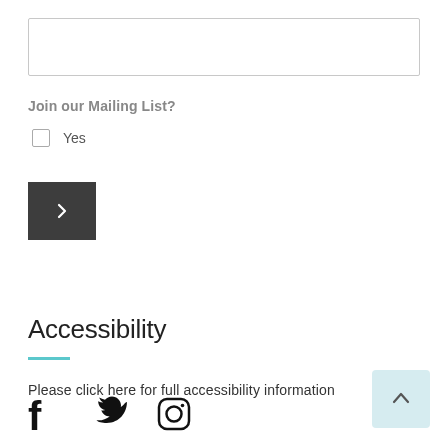[Figure (other): Text input field (empty)]
Join our Mailing List?
Yes (checkbox, unchecked)
[Figure (other): Submit button with right-arrow chevron icon, dark grey background]
Accessibility
Please click here for full accessibility information
[Figure (other): Scroll-to-top button with upward chevron, light blue background]
[Figure (other): Social media icons: Facebook, Twitter, Instagram]